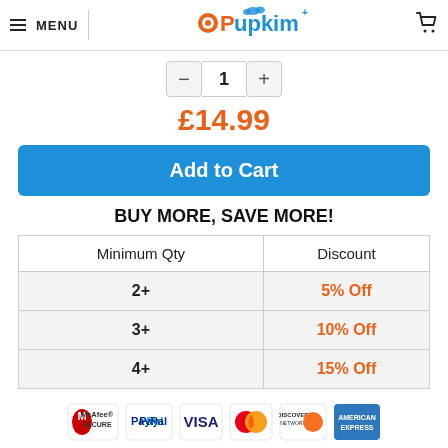MENU | Pupkim
1
£14.99
Add to Cart
BUY MORE, SAVE MORE!
| Minimum Qty | Discount |
| --- | --- |
| 2+ | 5% Off |
| 3+ | 10% Off |
| 4+ | 15% Off |
[Figure (infographic): Payment method logos: McAfee SECURE, PayPal, VISA, MasterCard, Discover Network, American Express]